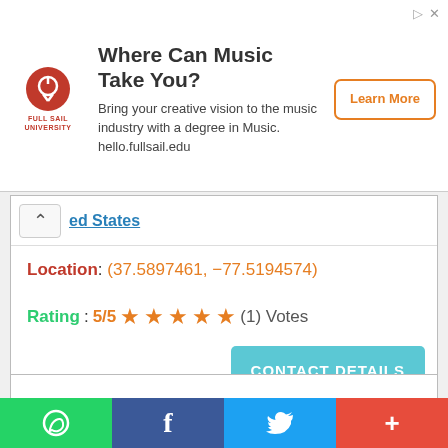[Figure (screenshot): Advertisement banner for Full Sail University: 'Where Can Music Take You?' with logo, description text, and Learn More button]
Location: (37.5897461, -77.5194574)
Rating: 5/5 ★★★★★ (1) Votes
CONTACT DETAILS
[Figure (screenshot): Empty white card section below contact details]
[Figure (screenshot): Social sharing bar with WhatsApp, Facebook, Twitter, and More buttons]